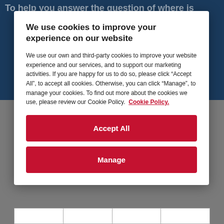To help you answer the question of where is
We use cookies to improve your experience on our website
We use our own and third-party cookies to improve your website experience and our services, and to support our marketing activities. If you are happy for us to do so, please click “Accept All”, to accept all cookies. Otherwise, you can click “Manage”, to manage your cookies. To find out more about the cookies we use, please review our Cookie Policy. Cookie Policy.
Accept All
Manage